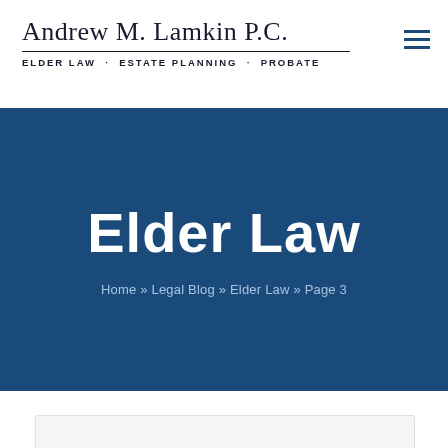Andrew M. Lamkin P.C. — ELDER LAW · ESTATE PLANNING · PROBATE
Elder Law
Home » Legal Blog » Elder Law » Page 3